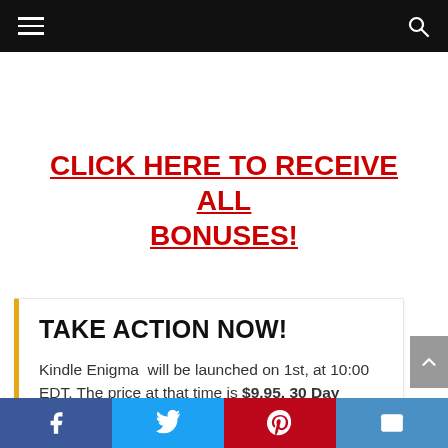Navigation bar with hamburger menu and search icon
CLICK HERE TO RECEIVE ALL BONUSES!
TAKE ACTION NOW!
Kindle Enigma  will be launched on 1st, at 10:00 EDT. The price at that time is $9.95. 30 Day Money Back Guarantee No Question
Social share bar: Facebook, Twitter, Pinterest, Email